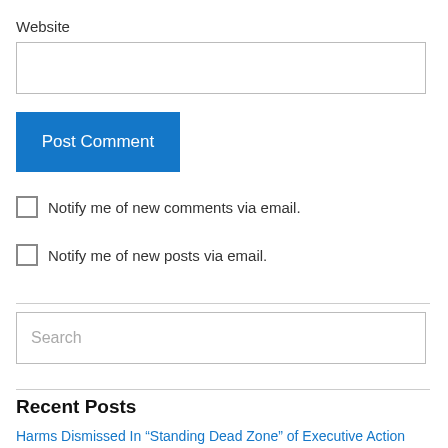Website
Post Comment
Notify me of new comments via email.
Notify me of new posts via email.
Search
Recent Posts
Harms Dismissed In “Standing Dead Zone” of Executive Action